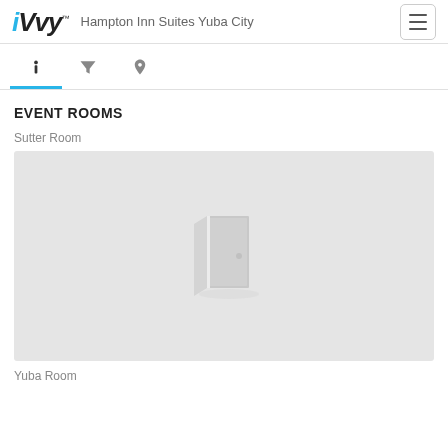iVvy™ Hampton Inn Suites Yuba City
[Figure (screenshot): Navigation tab bar with info (i), filter, and location pin icons; the info tab is active with a blue underline]
EVENT ROOMS
Sutter Room
[Figure (illustration): Placeholder image with a light gray background and a door icon in the center, representing the Sutter Room event space]
Yuba Room